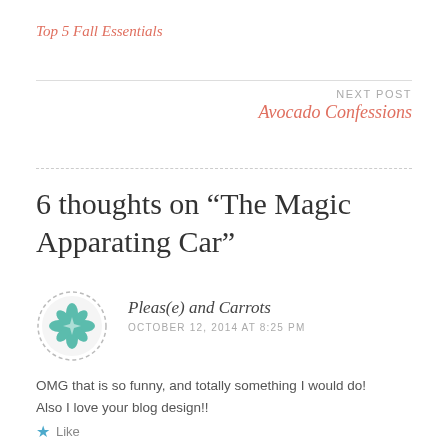Top 5 Fall Essentials
NEXT POST
Avocado Confessions
6 thoughts on “The Magic Apparating Car”
[Figure (logo): Teal geometric mandala/flower pattern avatar in a dashed circular border]
Pleas(e) and Carrots
OCTOBER 12, 2014 AT 8:25 PM
OMG that is so funny, and totally something I would do! Also I love your blog design!!
Like